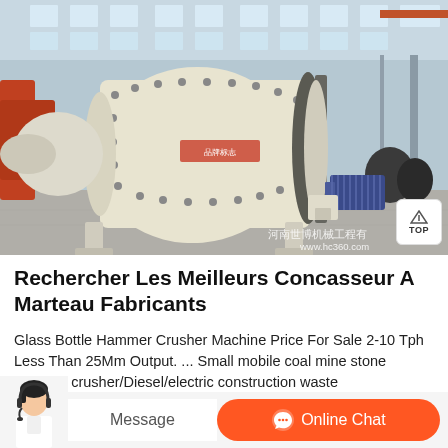[Figure (photo): Industrial ball mill machine, cream/white colored cylindrical grinding machine with bolted flanges and large gear ring, motor attached on right side, inside a large industrial warehouse with concrete floor and steel frame structure. Chinese watermark text '河南世博机械工程有' and 'www.hc360.com' visible in bottom right corner.]
Rechercher Les Meilleurs Concasseur A Marteau Fabricants
Glass Bottle Hammer Crusher Machine Price For Sale 2-10 Tph Less Than 25Mm Output. ... Small mobile coal mine stone hammer crusher/Diesel/electric construction waste shredder/Stone crushing sand